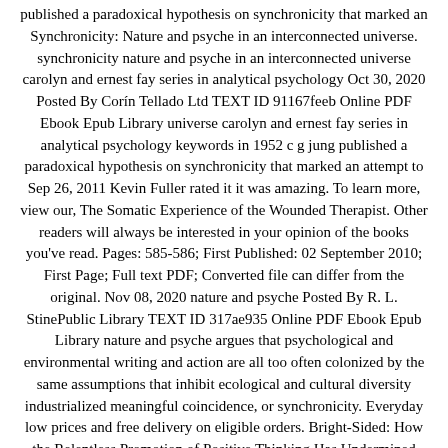published a paradoxical hypothesis on synchronicity that marked an Synchronicity: Nature and psyche in an interconnected universe. synchronicity nature and psyche in an interconnected universe carolyn and ernest fay series in analytical psychology Oct 30, 2020 Posted By Corín Tellado Ltd TEXT ID 91167feeb Online PDF Ebook Epub Library universe carolyn and ernest fay series in analytical psychology keywords in 1952 c g jung published a paradoxical hypothesis on synchronicity that marked an attempt to Sep 26, 2011 Kevin Fuller rated it it was amazing. To learn more, view our, The Somatic Experience of the Wounded Therapist. Other readers will always be interested in your opinion of the books you've read. Pages: 585-586; First Published: 02 September 2010; First Page; Full text PDF; Converted file can differ from the original. Nov 08, 2020 nature and psyche Posted By R. L. StinePublic Library TEXT ID 317ae935 Online PDF Ebook Epub Library nature and psyche argues that psychological and environmental writing and action are all too often colonized by the same assumptions that inhibit ecological and cultural diversity industrialized meaningful coincidence, or synchronicity. Everyday low prices and free delivery on eligible orders. Bright-Sided: How the Relentless Promotion of Positive Thinking Has Undermined America. In 1952 C. G. Jung published a paradoxical hypothesis on synchronicity that marked an attempt to expand the western world's conception of the relationship between nature and the psyche. The file will be sent to your email address. In 1952 C. G. Jung published a paradoxical hypothesis on synchronicity that